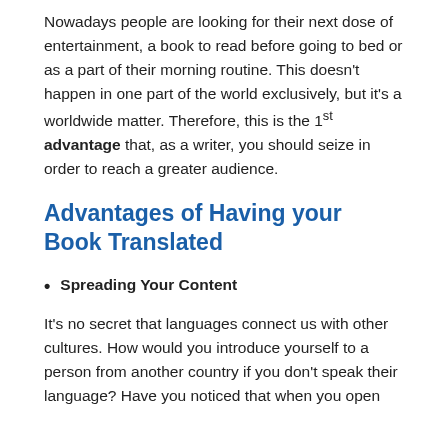Nowadays people are looking for their next dose of entertainment, a book to read before going to bed or as a part of their morning routine. This doesn't happen in one part of the world exclusively, but it's a worldwide matter. Therefore, this is the 1st advantage that, as a writer, you should seize in order to reach a greater audience.
Advantages of Having your Book Translated
Spreading Your Content
It's no secret that languages connect us with other cultures. How would you introduce yourself to a person from another country if you don't speak their language? Have you noticed that when you open